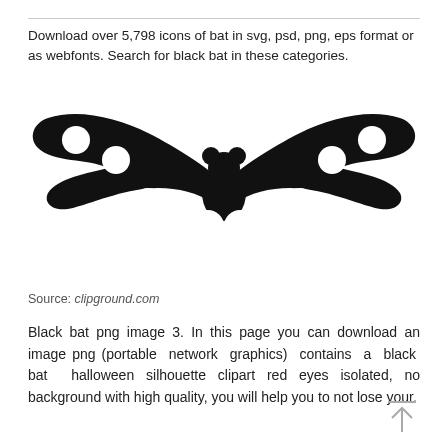Download over 5,798 icons of bat in svg, psd, png, eps format or as webfonts. Search for black bat in these categories.
[Figure (illustration): Black silhouette of a bat with wings spread wide, viewed from above. The bat has a rounded head with two ear bumps, and scalloped wing edges.]
Source: clipground.com
Black bat png image 3. In this page you can download an image png (portable network graphics) contains a black bat halloween silhouette clipart red eyes isolated, no background with high quality, you will help you to not lose your.